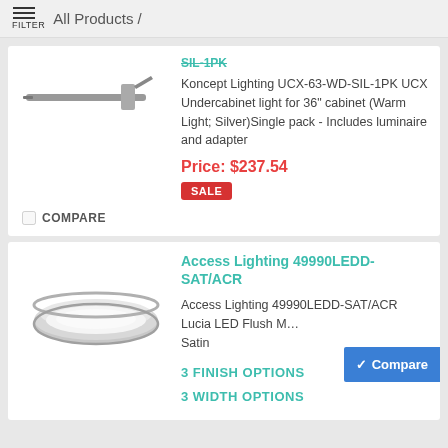FILTER  All Products /
SIL-1PK
[Figure (photo): Koncept Lighting UCX undercabinet light bar, slim silver rod-shaped light fixture on white background]
Koncept Lighting UCX-63-WD-SIL-1PK UCX Undercabinet light for 36" cabinet (Warm Light; Silver)Single pack - Includes luminaire and adapter
Price: $237.54
SALE
COMPARE
Access Lighting 49990LEDD-SAT/ACR
[Figure (photo): Access Lighting 49990LEDD-SAT/ACR Lucia LED Flush Mount light fixture, round disc-shaped ceiling light with chrome ring and white diffuser]
Access Lighting 49990LEDD-SAT/ACR Lucia LED Flush M... Satin
3 FINISH OPTIONS
3 WIDTH OPTIONS
Compare